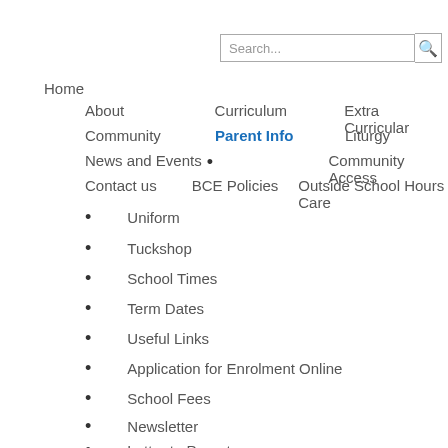Search...
Home
About   Curriculum   Extra Curricular
Community   Parent Info   Liturgy
News and Events   Community Access
Contact us   BCE Policies   Outside School Hours Care
Uniform
Tuckshop
School Times
Term Dates
Useful Links
Application for Enrolment Online
School Fees
Newsletter
Letter to Parents